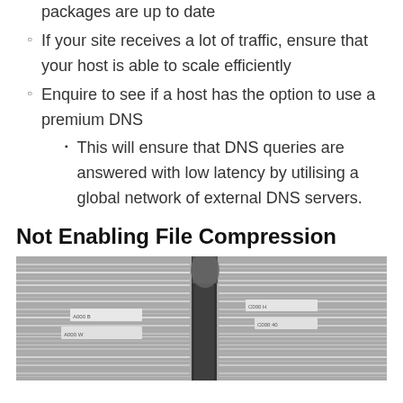Ensuring that all plugins and external packages are up to date
If your site receives a lot of traffic, ensure that your host is able to scale efficiently
Enquire to see if a host has the option to use a premium DNS
This will ensure that DNS queries are answered with low latency by utilising a global network of external DNS servers.
Not Enabling File Compression
[Figure (photo): Black and white photograph of stacked files or paper bundles bound together, viewed from the side]